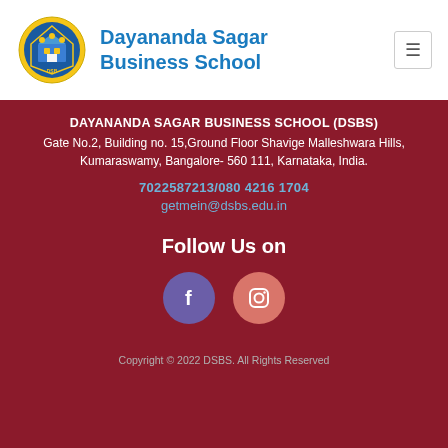[Figure (logo): Dayananda Sagar Business School circular logo with blue and yellow crest]
Dayananda Sagar Business School
DAYANANDA SAGAR BUSINESS SCHOOL (DSBS)
Gate No.2, Building no. 15,Ground Floor Shavige Malleshwara Hills, Kumaraswamy, Bangalore- 560 111, Karnataka, India.
7022587213/080 4216 1704
getmein@dsbs.edu.in
Follow Us on
[Figure (illustration): Facebook circular icon (purple background) and Instagram circular icon (pink/salmon background)]
Copyright © 2022 DSBS. All Rights Reserved